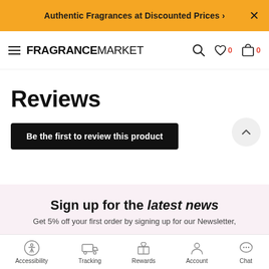Authentic Fragrances at Discounted Prices ›
[Figure (logo): FRAGRANCEMARKET logo with hamburger menu, search, wishlist (0), and cart (0) icons]
Reviews
Be the first to review this product
Sign up for the latest news
Get 5% off your first order by signing up for our Newsletter,
Accessibility  Tracking  Rewards  Account  Chat